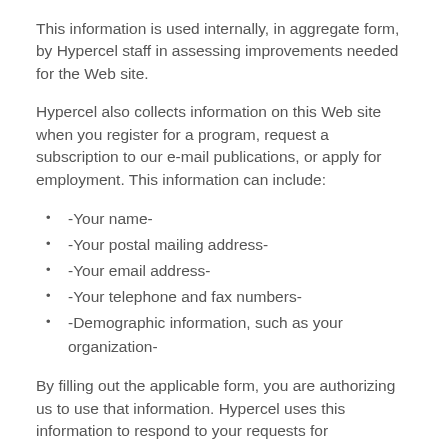This information is used internally, in aggregate form, by Hypercel staff in assessing improvements needed for the Web site.
Hypercel also collects information on this Web site when you register for a program, request a subscription to our e-mail publications, or apply for employment. This information can include:
-Your name-
-Your postal mailing address-
-Your email address-
-Your telephone and fax numbers-
-Demographic information, such as your organization-
By filling out the applicable form, you are authorizing us to use that information. Hypercel uses this information to respond to your requests for information, program registration, publication fulfillment requests, and prospective employment pool placement. Hypercel may also, at your request, use provided information to advise and information you about our